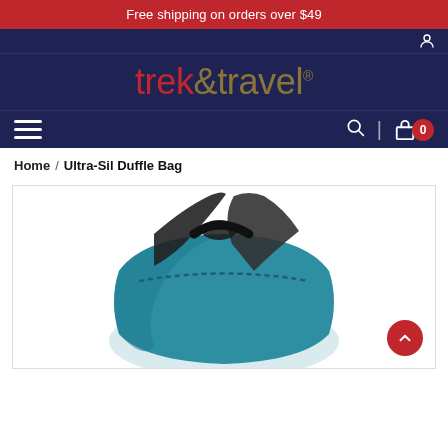Free shipping on orders over $49
[Figure (logo): Trek & Travel logo in red and gold on dark navy background]
Home / Ultra-Sil Duffle Bag
[Figure (photo): Ultra-Sil Duffle Bag product photo showing a teal/blue duffle bag with black straps]